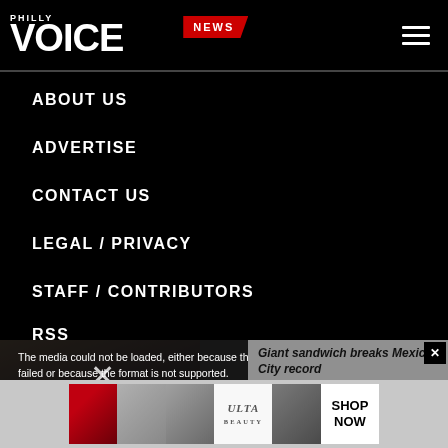PHILLY VOICE — NEWS
ABOUT US
ADVERTISE
CONTACT US
LEGAL / PRIVACY
STAFF / CONTRIBUTORS
RSS
[Figure (screenshot): Video player showing error message: 'The media could not be loaded, either because the server or network failed or because the format is not supported.' with a panel showing 'Giant sandwich breaks Mexico City record']
[Figure (screenshot): ULTA Beauty advertisement banner with makeup imagery and 'SHOP NOW' call to action]